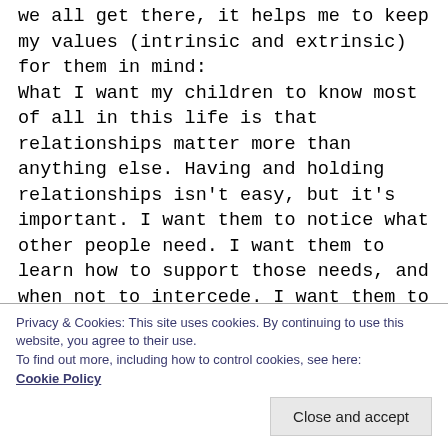we all get there, it helps me to keep my values (intrinsic and extrinsic) for them in mind: What I want my children to know most of all in this life is that relationships matter more than anything else. Having and holding relationships isn't easy, but it's important. I want them to notice what other people need. I want them to learn how to support those needs, and when not to intercede. I want them to know that sometimes other people have to come first. First, not at the expense of ourselves, not in a martyr way, but simply first. I want them to know that we can do hard things and still keep our integrity, even from the edge. I want them to be
Privacy & Cookies: This site uses cookies. By continuing to use this website, you agree to their use.
To find out more, including how to control cookies, see here:
Cookie Policy
Close and accept